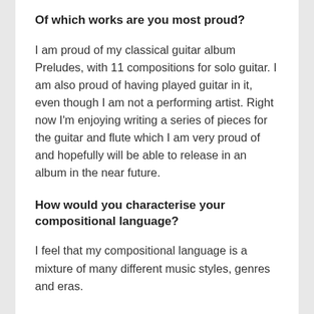Of which works are you most proud?
I am proud of my classical guitar album Preludes, with 11 compositions for solo guitar. I am also proud of having played guitar in it, even though I am not a performing artist. Right now I'm enjoying writing a series of pieces for the guitar and flute which I am very proud of and hopefully will be able to release in an album in the near future.
How would you characterise your compositional language?
I feel that my compositional language is a mixture of many different music styles, genres and eras.